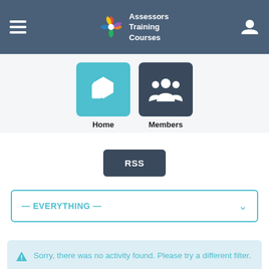Assessors Training Courses
[Figure (screenshot): Navigation icons: Home (teal box with 3D cubes icon) and Members (dark box with group of people icon)]
Home
Members
RSS
— EVERYTHING —
Sorry, there was no activity found. Please try a different filter.